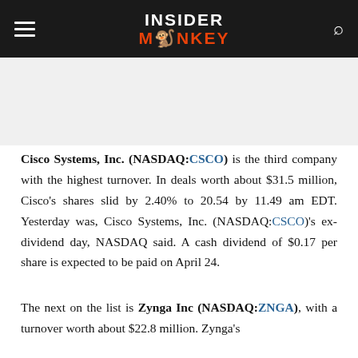INSIDER MONKEY
Cisco Systems, Inc. (NASDAQ:CSCO) is the third company with the highest turnover. In deals worth about $31.5 million, Cisco's shares slid by 2.40% to 20.54 by 11.49 am EDT. Yesterday was, Cisco Systems, Inc. (NASDAQ:CSCO)'s ex-dividend day, NASDAQ said. A cash dividend of $0.17 per share is expected to be paid on April 24.
The next on the list is Zynga Inc (NASDAQ:ZNGA), with a turnover worth about $22.8 million. Zynga's